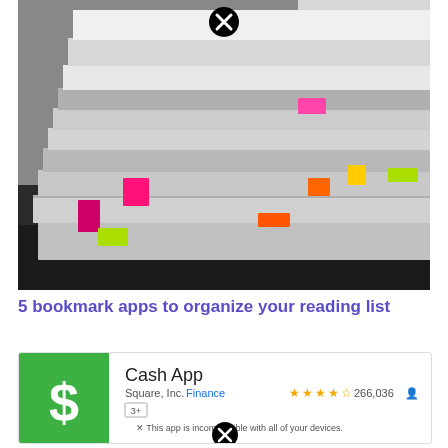[Figure (photo): Stack of magazines/books with colorful sticky note tabs (pink, magenta, yellow-green, orange) on a dark wooden surface. A black close/dismiss button appears at the top center.]
5 bookmark apps to organize your reading list
[Figure (screenshot): App store listing for Cash App by Square, Inc. in the Finance category. Green icon with white dollar sign. 4-star rating with 266,036 reviews. Tag '3+'. Warning: This app is incompatible with all of your devices. Close button at bottom center.]